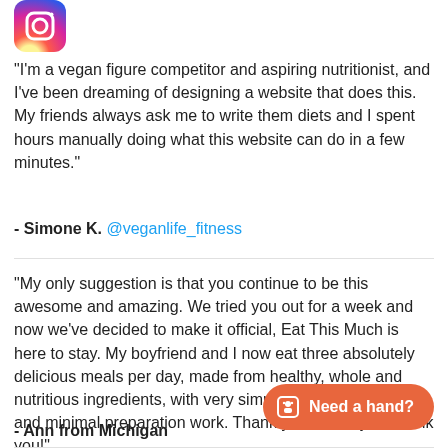[Figure (logo): Instagram logo icon (gradient orange-pink)]
"I'm a vegan figure competitor and aspiring nutritionist, and I've been dreaming of designing a website that does this. My friends always ask me to write them diets and I spent hours manually doing what this website can do in a few minutes."
- Simone K. @veganlife_fitness
"My only suggestion is that you continue to be this awesome and amazing. We tried you out for a week and now we've decided to make it official, Eat This Much is here to stay. My boyfriend and I now eat three absolutely delicious meals per day, made from healthy, whole and nutritious ingredients, with very simplified shopping trips and minimal preparation work. Thank you, thank you, thank you!"
- Ann from Michigan
[Figure (other): Orange rounded button with robot icon and text 'Need a hand?']